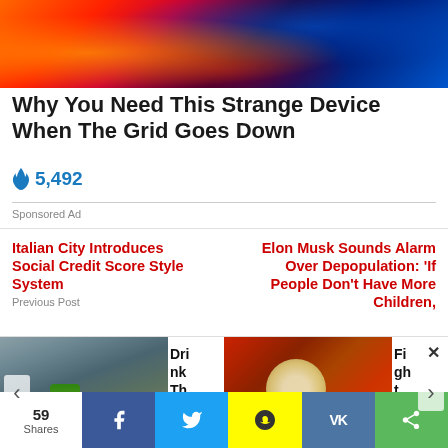[Figure (photo): Abstract colorful light streaks – orange, red, purple, and blue – on dark background]
Why You Need This Strange Device When The Grid Goes Down
🔥 5,492
Sponsored Ad
Italian City Introduces Social Credit Score Style System
Previous Post
Elon Musk Sounds Alarm Over Depopulation: 'If People Don't Have More Children,
[Figure (photo): Person holding a glass with green juice/smoothie]
Dri nk Th
[Figure (photo): Close-up of a rambutan fruit being peeled, showing red spiky exterior and white interior]
Fi gh t
59 Shares